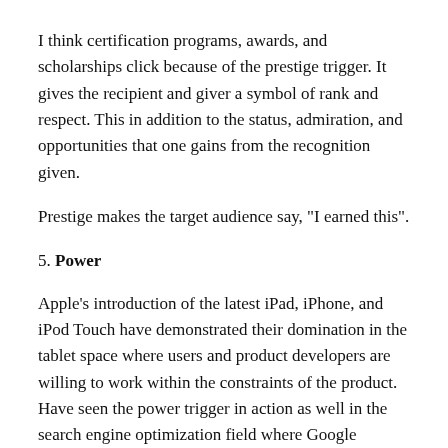I think certification programs, awards, and scholarships click because of the prestige trigger. It gives the recipient and giver a symbol of rank and respect. This in addition to the status, admiration, and opportunities that one gains from the recognition given.
Prestige makes the target audience say, "I earned this".
5. Power
Apple's introduction of the latest iPad, iPhone, and iPod Touch have demonstrated their domination in the tablet space where users and product developers are willing to work within the constraints of the product. Have seen the power trigger in action as well in the search engine optimization field where Google PageRank tells much on the kind of credibility your site has. Those who abuse webmaster guidelines are also penalized resulting in